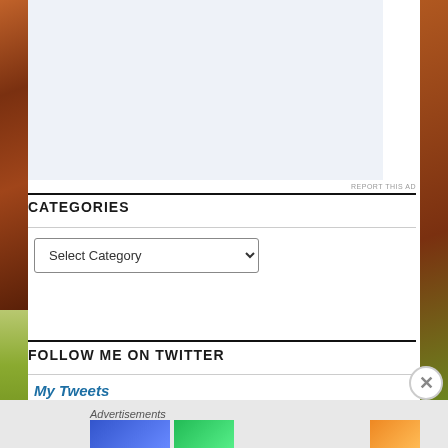[Figure (screenshot): Advertisement placeholder box with light blue-grey background]
REPORT THIS AD
CATEGORIES
Select Category (dropdown)
FOLLOW ME ON TWITTER
My Tweets
[Figure (other): WordPress Follow button]
Advertisements